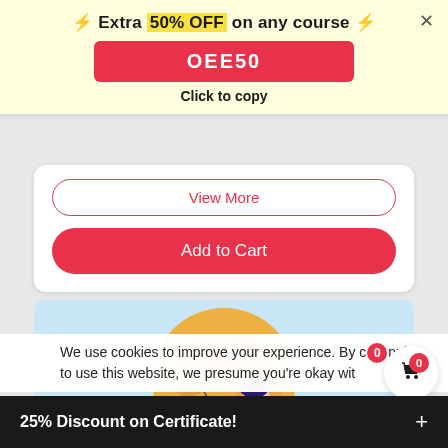⚡ Extra 50% OFF on any course ⚡
OEE50
Click to copy
View More
Add to Cart
[Figure (illustration): Globe illustration with a person using a laptop, showing interconnected world map in orange tones on a light blue background]
We use cookies to improve your experience. By continuing to use this website, we presume you're okay wit
25% Discount on Certificate!